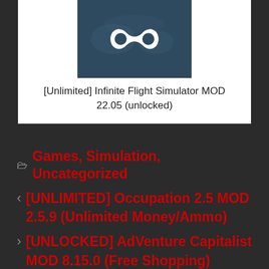[Figure (screenshot): App icon for Infinite Flight Simulator — dark navy/teal background with a white infinity symbol logo]
[Unlimited] Infinite Flight Simulator MOD 22.05 (unlocked)
Games, Simulation, Uncategorized
[UNLIMITED] Occupation 2.5 MOD 2.5.9 (Unlimited Money/Ammo)
[UNLOCKED] AdVenture Capitalist MOD 8.15.0 (Free Shopping)